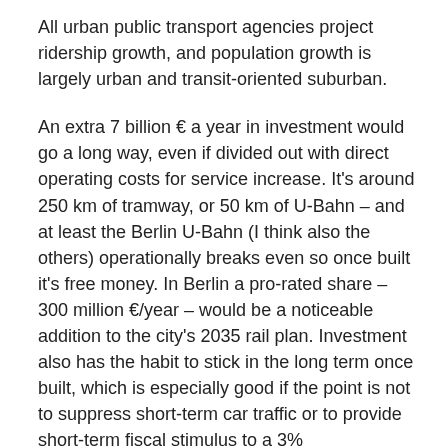All urban public transport agencies project ridership growth, and population growth is largely urban and transit-oriented suburban.
An extra 7 billion € a year in investment would go a long way, even if divided out with direct operating costs for service increase. It's around 250 km of tramway, or 50 km of U-Bahn – and at least the Berlin U-Bahn (I think also the others) operationally breaks even so once built it's free money. In Berlin a pro-rated share – 300 million €/year – would be a noticeable addition to the city's 2035 rail plan. Investment also has the habit to stick in the long term once built, which is especially good if the point is not to suppress short-term car traffic or to provide short-term fiscal stimulus to a 3% unemployment economy but to engage in long-term economic investment.